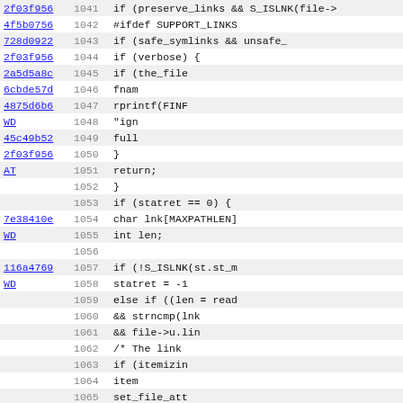[Figure (screenshot): Source code diff/blame view showing lines 1041-1072 of a C source file, with commit hashes in the left column, line numbers in the middle column, and code content on the right. Alternating row background colors.]